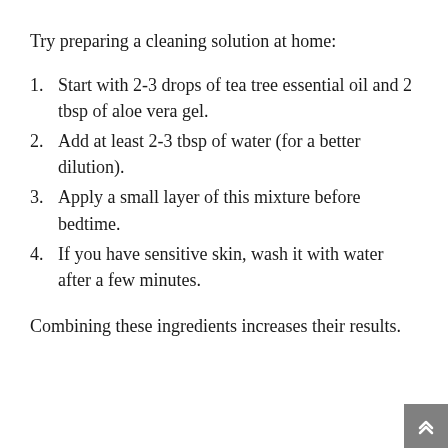Try preparing a cleaning solution at home:
Start with 2-3 drops of tea tree essential oil and 2 tbsp of aloe vera gel.
Add at least 2-3 tbsp of water (for a better dilution).
Apply a small layer of this mixture before bedtime.
If you have sensitive skin, wash it with water after a few minutes.
Combining these ingredients increases their results.